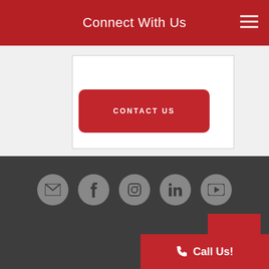Connect With Us
CONTACT US
[Figure (infographic): Row of five circular social media icon buttons (email, Facebook, Instagram, LinkedIn, YouTube) on dark gray background, plus a red back-to-top arrow button and a red Call Us button]
Call Us!